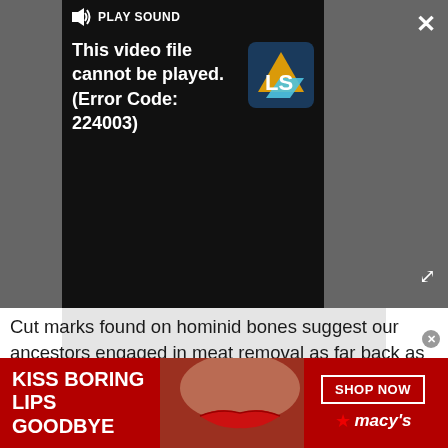[Figure (screenshot): Video player showing error message 'This video file cannot be played. (Error Code: 224003)' with speaker icon and PLAY SOUND text, LS logo, close X button and expand arrows on dark background]
[Figure (other): Grey advertisement placeholder rectangle below video player]
Cut marks found on hominid bones suggest our ancestors engaged in meat removal as far back as 780,000 years ago, Cole said. Many historical cultures have dabbled in cannibalism: The Aztecs supposedly had human butcher shops and the Maori in New
[Figure (photo): Macy's advertisement banner with dark red background, woman's face with red lips, text 'KISS BORING LIPS GOODBYE', 'SHOP NOW' button, and Macy's star logo]